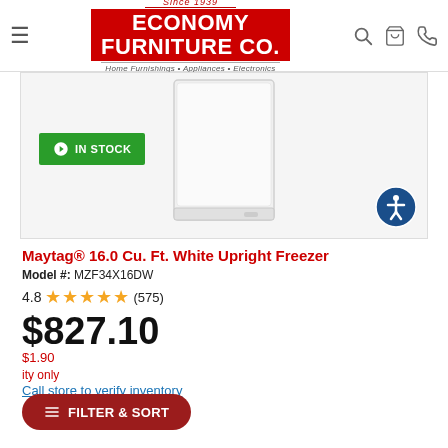Economy Furniture Co. — Since 1939 — Home Furnishings • Appliances • Electronics
[Figure (photo): White upright freezer product image on light gray background with IN STOCK badge]
Maytag® 16.0 Cu. Ft. White Upright Freezer
Model #: MZF34X16DW
4.8 ★★★★★ (575)
$827.10
Was $1.90 — availability only
Call store to verify inventory